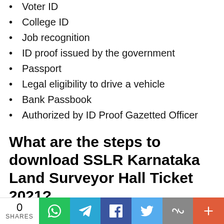Voter ID
College ID
Job recognition
ID proof issued by the government
Passport
Legal eligibility to drive a vehicle
Bank Passbook
Authorized by ID Proof Gazetted Officer
What are the steps to download SSLR Karnataka Land Surveyor Hall Ticket 2021?
0 SHARES